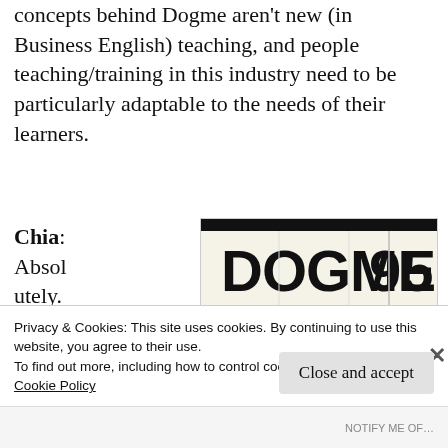concepts behind Dogme aren't new (in Business English) teaching, and people teaching/training in this industry need to be particularly adaptable to the needs of their learners.
Chia: Absolutely. But again,
[Figure (photo): A photo of a Dogme 95 film festival ticket/brochure showing 'DOGME 95' in large bold text, with event details: FESTIVAL DE CINE DOGMA, 22|23|24 NOVIEMBRE, and ticket information including ENTRADA GENERAL prices.]
Privacy & Cookies: This site uses cookies. By continuing to use this website, you agree to their use.
To find out more, including how to control cookies, see here:
Cookie Policy
Close and accept